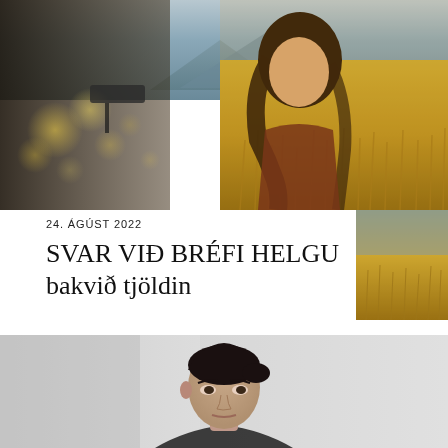[Figure (photo): Outdoor scene: a young woman with long dark hair stands in a golden wheat field in warm sunlight, with mountains in the background. A blurred figure in the foreground holds a microphone or recording device.]
24. ÁGÚST 2022
SVAR VIÐ BRÉFI HELGU bakvið tjöldin
[Figure (photo): Small inset photo showing the same outdoor wheat field scene, slightly different angle.]
[Figure (photo): Indoor scene: a woman with dark hair pulled back, seen from the shoulders up, against a neutral grey background. Serious, contemplative expression.]